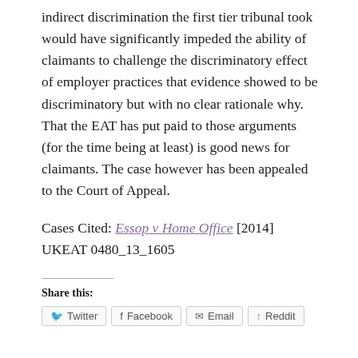indirect discrimination the first tier tribunal took would have significantly impeded the ability of claimants to challenge the discriminatory effect of employer practices that evidence showed to be discriminatory but with no clear rationale why. That the EAT has put paid to those arguments (for the time being at least) is good news for claimants. The case however has been appealed to the Court of Appeal.
Cases Cited: Essop v Home Office [2014] UKEAT 0480_13_1605
Share this: